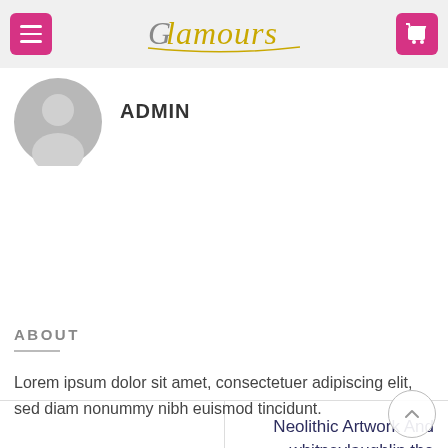Glamours — navigation header with menu and cart buttons
ADMIN
No deposit Pokies
Neolithic Artwork And whitneylaughlin the Modern Stone Age
ABOUT
Lorem ipsum dolor sit amet, consectetuer adipiscing elit, sed diam nonummy nibh euismod tincidunt.